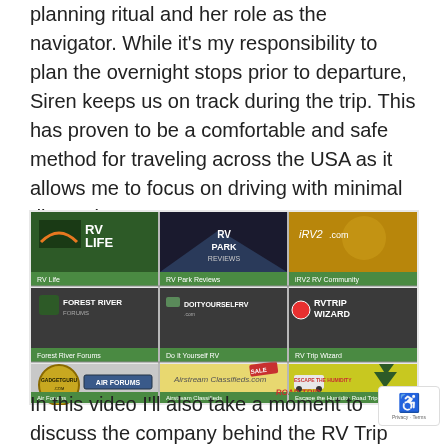planning ritual and her role as the navigator. While it's my responsibility to plan the overnight stops prior to departure, Siren keeps us on track during the trip. This has proven to be a comfortable and safe method for traveling across the USA as it allows me to focus on driving with minimal distractions.
[Figure (screenshot): A grid of RV-related website logos and thumbnails: RV Life, RV Park Reviews, iRV2.com, Forest River Forums, DoItYourselfRV.com, RV Trip Wizard, Air Forums / GadgetGuru.com, Airstream Classifieds, Escape the Humidity Road Trip]
In this video I'll also take a moment to discuss the company behind the RV Trip Wizard and how they